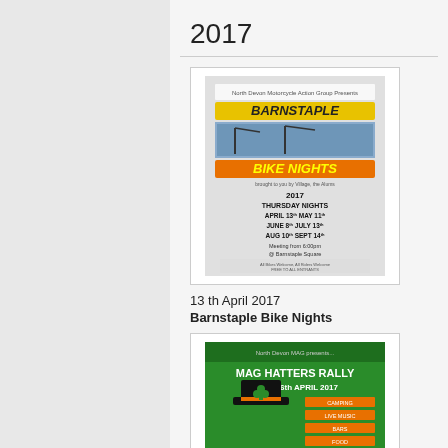2017
[Figure (illustration): Barnstaple Bike Nights 2017 event poster - Thursday Nights April 13th, May 11th, June 8th, July 13th, Aug 10th, Sept 14th. Meeting from 6:00pm at Barnstaple Square.]
13 th April 2017
Barnstaple Bike Nights
[Figure (illustration): MAG Hatters Rally poster - 14th-16th April 2017, green background with top hat graphic.]
14th-16th April 2017